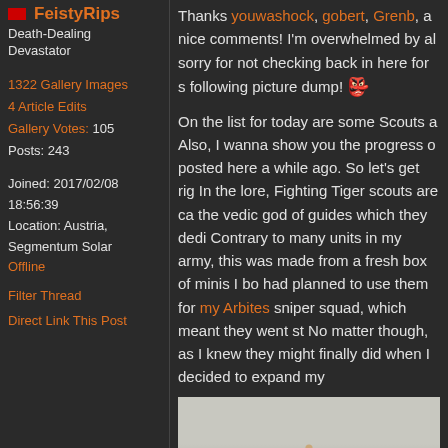FeistyRips
Death-Dealing Devastator
1322 Gallery Images
4 Article Edits
Gallery Votes: 105
Posts: 243
Joined: 2017/02/08 18:56:39
Location: Austria, Segmentum Solar
Offline
Filter Thread
Direct Link This Post
Thanks youwashock, gobert, Grenb, and others for all the nice comments! I'm overwhelmed by all the support! I'm sorry for not checking back in here for so long. Enjoy the following picture dump! 👺
On the list for today are some Scouts and other things. Also, I wanna show you the progress on a unit I originally posted here a while ago. So let's get right into it! In the lore, Fighting Tiger scouts are called Pathfinders, after the vedic god of guides which they dedicate their hunt to. Contrary to many units in my army, this unit was made from a fresh box of minis I bought new. I had planned to use them for my Arbites sniper squad, which meant they went straight into a box. No matter though, as I knew they might come in handy, which I finally did when I decided to expand my
[Figure (photo): Bottom portion of image showing miniature figure on light grey/beige background]